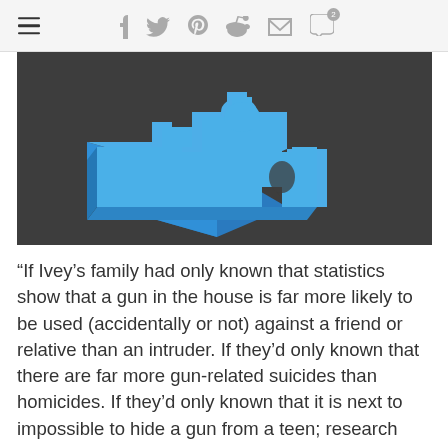≡  f  🐦  ℗  ⬛  ✉  💬2
[Figure (illustration): A 3D blue puzzle piece against a dark gray background]
“If Ivey’s family had only known that statistics show that a gun in the house is far more likely to be used (accidentally or not) against a friend or relative than an intruder. If they’d only known that there are far more gun-related suicides than homicides. If they’d only known that it is next to impossible to hide a gun from a teen; research has shown that in most houses where the gun owner thinks his gun is